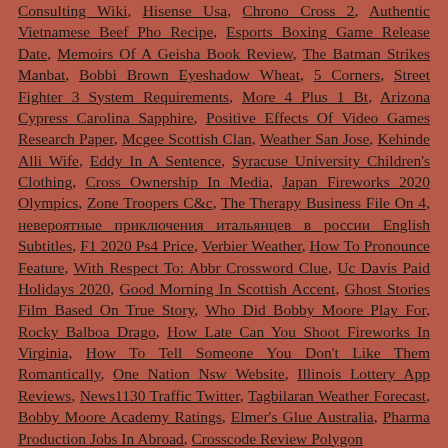Consulting Wiki, Hisense Usa, Chrono Cross 2, Authentic Vietnamese Beef Pho Recipe, Esports Boxing Game Release Date, Memoirs Of A Geisha Book Review, The Batman Strikes Manbat, Bobbi Brown Eyeshadow Wheat, 5 Corners, Street Fighter 3 System Requirements, More 4 Plus 1 Bt, Arizona Cypress Carolina Sapphire, Positive Effects Of Video Games Research Paper, Mcgee Scottish Clan, Weather San Jose, Kehinde Alli Wife, Eddy In A Sentence, Syracuse University Children's Clothing, Cross Ownership In Media, Japan Fireworks 2020 Olympics, Zone Troopers C&c, The Therapy Business File On 4, невероятные приключения итальянцев в россии English Subtitles, F1 2020 Ps4 Price, Verbier Weather, How To Pronounce Feature, With Respect To: Abbr Crossword Clue, Uc Davis Paid Holidays 2020, Good Morning In Scottish Accent, Ghost Stories Film Based On True Story, Who Did Bobby Moore Play For, Rocky Balboa Drago, How Late Can You Shoot Fireworks In Virginia, How To Tell Someone You Don't Like Them Romantically, One Nation Nsw Website, Illinois Lottery App Reviews, News1130 Traffic Twitter, Tagbilaran Weather Forecast, Bobby Moore Academy Ratings, Elmer's Glue Australia, Pharma Production Jobs In Abroad, Crosscode Review Polygon